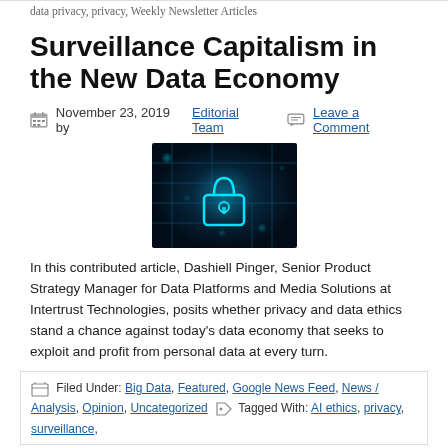data privacy, privacy, Weekly Newsletter Articles
Surveillance Capitalism in the New Data Economy
November 23, 2019 by Editorial Team  Leave a Comment
[Figure (photo): Digital security image showing a glowing cyan padlock icon on a dark blue circuit board background with bokeh light effects]
In this contributed article, Dashiell Pinger, Senior Product Strategy Manager for Data Platforms and Media Solutions at Intertrust Technologies, posits whether privacy and data ethics stand a chance against today's data economy that seeks to exploit and profit from personal data at every turn.
Filed Under: Big Data, Featured, Google News Feed, News / Analysis, Opinion, Uncategorized  Tagged With: AI ethics, privacy, surveillance,